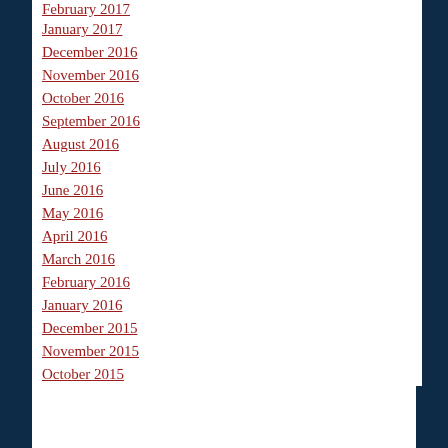February 2017
January 2017
December 2016
November 2016
October 2016
September 2016
August 2016
July 2016
June 2016
May 2016
April 2016
March 2016
February 2016
January 2016
December 2015
November 2015
October 2015